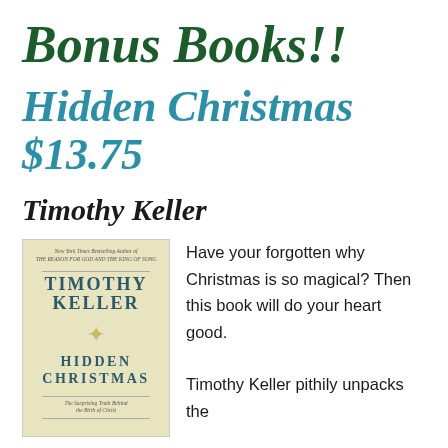Bonus Books!!
Hidden Christmas $13.75
Timothy Keller
[Figure (illustration): Book cover of Hidden Christmas by Timothy Keller. Cream/yellow background with author name TIMOTHY KELLER in teal bold letters, a decorative star, HIDDEN CHRISTMAS title in teal, and subtitle The Surprising Truth Behind the Birth of Christ.]
Have your forgotten why Christmas is so magical? Then this book will do your heart good. Timothy Keller pithily unpacks the